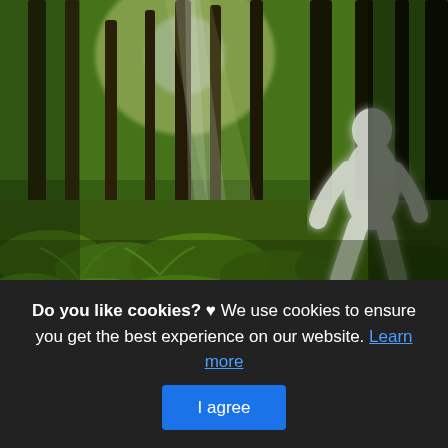[Figure (photo): A sunlit forest scene with tall trees and dense green ferns on the forest floor. A glowing white silhouette of a large bipedal creature (Bigfoot/Sasquatch) is visible in the upper right portion of the image, walking among the trees.]
5 mythical creatures that reportedly roam Alabama s
This is actually a write-up or even graphic around the 5 mythical creatures that reportedly roam Alabama s back roads, if you wish even more details around the short post
Do you like cookies? ♥ We use cookies to ensure you get the best experience on our website. Learn more
I agree